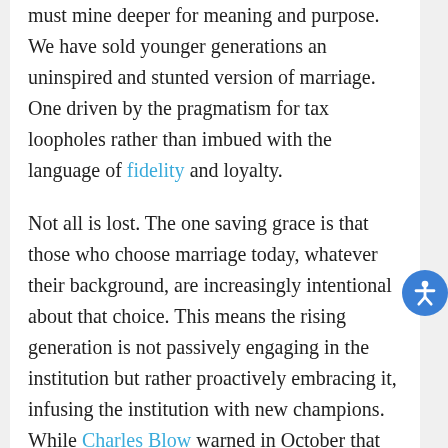must mine deeper for meaning and purpose. We have sold younger generations an uninspired and stunted version of marriage. One driven by the pragmatism for tax loopholes rather than imbued with the language of fidelity and loyalty.
Not all is lost. The one saving grace is that those who choose marriage today, whatever their background, are increasingly intentional about that choice. This means the rising generation is not passively engaging in the institution but rather proactively embracing it, infusing the institution with new champions. While Charles Blow warned in October that the "married will soon be a minority," there's at least some consolation that this minority remains strongly tethered to the institution.
And while we are right to be concerned about the